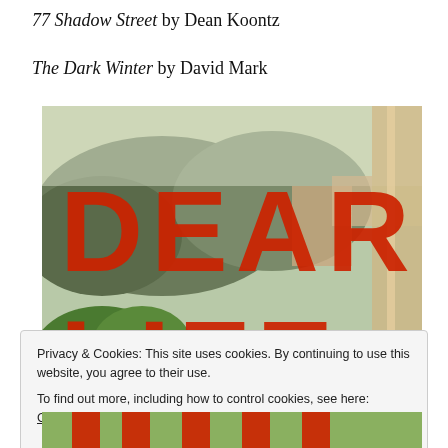77 Shadow Street by Dean Koontz
The Dark Winter by David Mark
[Figure (photo): Book cover of 'Dear Life' showing large red bold letters spelling DEAR LIFE over an impressionist painting of a rural landscape with green hills, trees, and buildings. The cover art appears to be a Gauguin or similar post-impressionist painting.]
Privacy & Cookies: This site uses cookies. By continuing to use this website, you agree to their use.
To find out more, including how to control cookies, see here: Cookie Policy
Close and accept